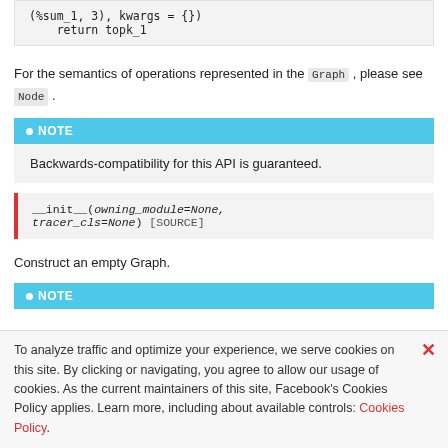(%sum_1, 3), kwargs = {})
    return topk_1
For the semantics of operations represented in the Graph, please see Node.
NOTE
Backwards-compatibility for this API is guaranteed.
__init__(owning_module=None, tracer_cls=None) [SOURCE]
Construct an empty Graph.
NOTE
To analyze traffic and optimize your experience, we serve cookies on this site. By clicking or navigating, you agree to allow our usage of cookies. As the current maintainers of this site, Facebook's Cookies Policy applies. Learn more, including about available controls: Cookies Policy.